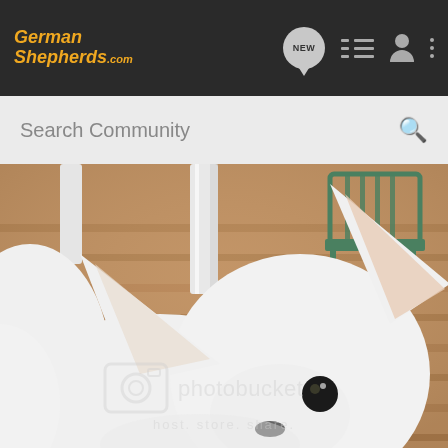GermanShepherds.com — navigation bar with NEW, list, profile, and menu icons
Search Community
[Figure (photo): Close-up photo of a white German Shepherd puppy looking up at the camera with large ears visible, standing on a wooden deck. A green metal chair is visible in the background. Photobucket watermark overlay reads 'photobucket host. store. share.']